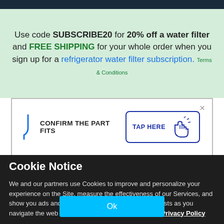Use code SUBSCRIBE20 for 20% off a water filter and FREE SHIPPING for your whole order when you sign up for a refrigerator water filter subscription. Terms & Conditions
[Figure (screenshot): Confirm the part fits widget with a 'TAP HERE' button and a pointing hand cursor icon, with a close X button]
Cookie Notice
We and our partners use Cookies to improve and personalize your experience on the Site, measure the effectiveness of our Services, and show you ads and other content tailored to your interests as you navigate the web or interact with us across devices.  Privacy Policy
Ok